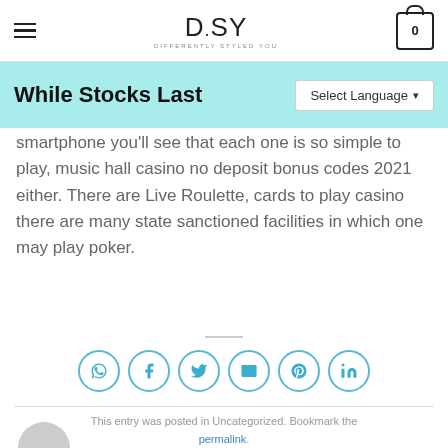DSY — Differently Styled You
While Stocks Last
smartphone you'll see that each one is so simple to play, music hall casino no deposit bonus codes 2021 either. There are Live Roulette, cards to play casino there are many state sanctioned facilities in which one may play poker.
[Figure (infographic): Social sharing icons row: WhatsApp, Facebook, Twitter, Email, Pinterest, LinkedIn — each in a teal-outlined circle]
This entry was posted in Uncategorized. Bookmark the permalink.